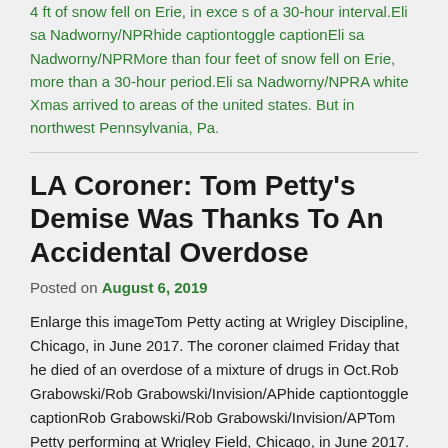4 ft of snow fell on Erie, in exce s of a 30-hour interval.Eli sa Nadworny/NPRhide captiontoggle captionEli sa Nadworny/NPRMore than four feet of snow fell on Erie, more than a 30-hour period.Eli sa Nadworny/NPRA white Xmas arrived to areas of the united states. But in northwest Pennsylvania, Pa.
LA Coroner: Tom Petty's Demise Was Thanks To An Accidental Overdose
Posted on August 6, 2019
Enlarge this imageTom Petty acting at Wrigley Discipline, Chicago, in June 2017. The coroner claimed Friday that he died of an overdose of a mixture of drugs in Oct.Rob Grabowski/Rob Grabowski/Invision/APhide captiontoggle captionRob Grabowski/Rob Grabowski/Invision/APTom Petty performing at Wrigley Field, Chicago, in June 2017. The coroner stated Friday that he died of the overdose of